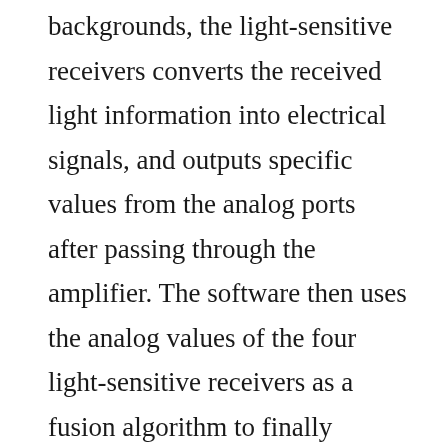backgrounds, the light-sensitive receivers converts the received light information into electrical signals, and outputs specific values from the analog ports after passing through the amplifier. The software then uses the analog values of the four light-sensitive receivers as a fusion algorithm to finally calculate the deviation of the position of the output sensor module from the track. The user can directly use this offset to control the rotation speed of the left and right two motors.